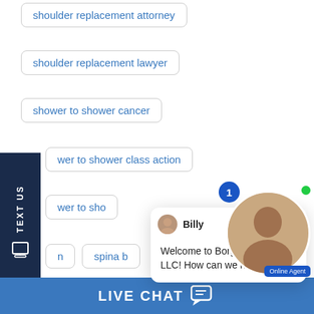shoulder replacement attorney
shoulder replacement lawyer
shower to shower cancer
wer to shower class action
wer to sho
n
spina b
spina bifida lawyer
spray recall
Stribild
Stribild attorney
Stribild bone
Stribild class action
[Figure (screenshot): Chat popup from Billy at Borgess Law, LLC saying: Welcome to Borgess Law, LLC! How can we help you?]
[Figure (photo): Online Agent photo with notification badge showing 1 and green online dot]
TEXT US
LIVE CHAT